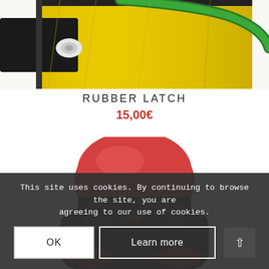[Figure (photo): Close-up of yellow protective suit with green air hose and white connector fitting, black collar visible at top]
RUBBER LATCH
15,00€
[Figure (photo): Red and black full-face protective helmet/respirator with clear visor, worn on a dark suit]
This site uses cookies. By continuing to browse the site, you are agreeing to our use of cookies.
OK
Learn more